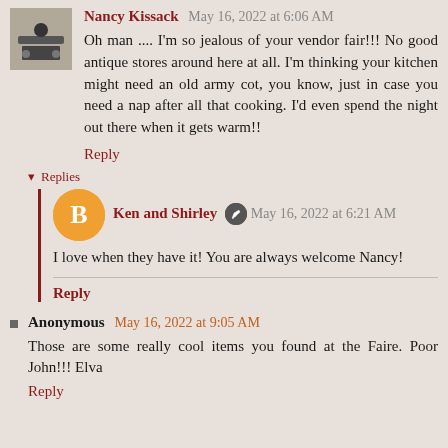Nancy Kissack May 16, 2022 at 6:06 AM
Oh man .... I'm so jealous of your vendor fair!!! No good antique stores around here at all. I'm thinking your kitchen might need an old army cot, you know, just in case you need a nap after all that cooking. I'd even spend the night out there when it gets warm!!
Reply
▾ Replies
Ken and Shirley May 16, 2022 at 6:21 AM
I love when they have it! You are always welcome Nancy!
Reply
Anonymous May 16, 2022 at 9:05 AM
Those are some really cool items you found at the Faire. Poor John!!! Elva
Reply